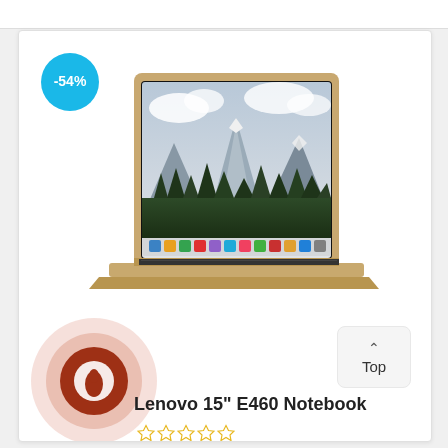[Figure (photo): Product listing card showing a gold Apple MacBook laptop with a -54% discount badge. Below overlaps a circular brand icon (dark red/brown with a teardrop/flame symbol) and a 'Top' navigation button in the bottom right. Product name 'Lenovo 15" E460 Notebook' with 5 empty star ratings.]
Lenovo 15" E460 Notebook